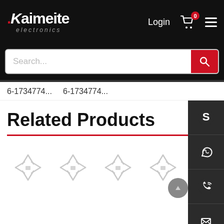Kaimeite electronics — Login, Cart (0), Menu
Search...
6-1734774...   6-1734774...
Related Products
[Figure (other): Four product loading spinner placeholders in a row]
[Figure (other): Side panel with Skype, WhatsApp, phone, email contact icons and QR code]